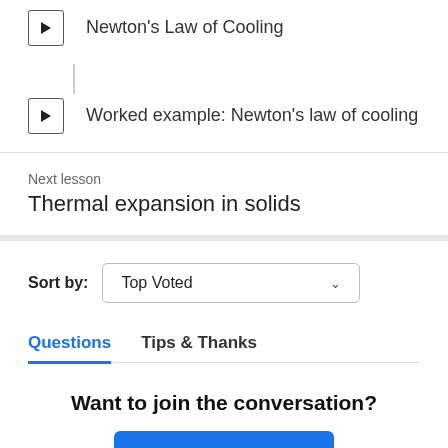Newton's Law of Cooling
Worked example: Newton's law of cooling
Next lesson
Thermal expansion in solids
Sort by: Top Voted
Questions  Tips & Thanks
Want to join the conversation?